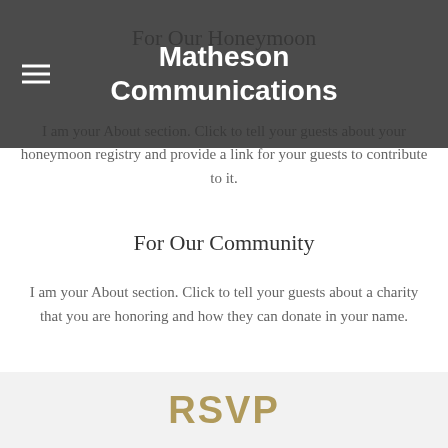Matheson Communications
For Our Honeymoon
I am your About section. Click to tell your guests about your honeymoon registry and provide a link for your guests to contribute to it.
For Our Community
I am your About section. Click to tell your guests about a charity that you are honoring and how they can donate in your name.
RSVP